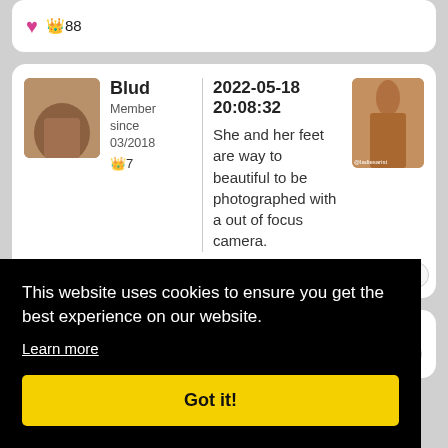♥ 👑88
Blud
Member since 03/2018
👑7
2022-05-18 20:08:32
She and her feet are way to beautiful to be photographed with a out of focus camera.
User rated ★★★★★(beautiful feet)
Blacklist user
Reply
This website uses cookies to ensure you get the best experience on our website.
Learn more
Got it!
Reply